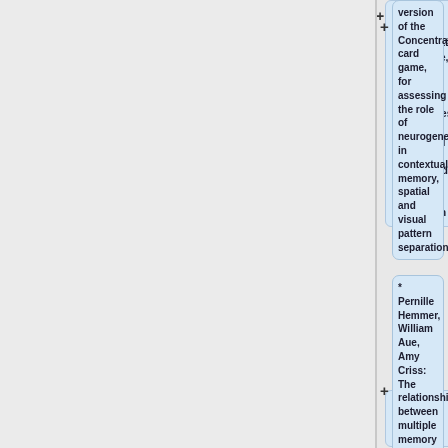version of the Concentration card game, for assessing the role of neurogenesis in contextual memory, spatial and visual pattern separation
* '''Pernille Hemmer, William Aue, Amy Criss''': The relationship between multiple memory tasks
* '''Almut Hupbach, Jenny...